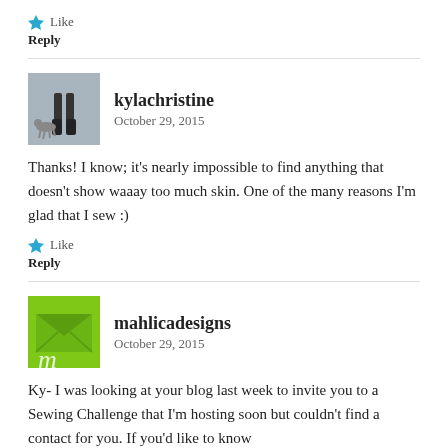Like
Reply
kylachristine
October 29, 2015
Thanks! I know; it's nearly impossible to find anything that doesn't show waaay too much skin. One of the many reasons I'm glad that I sew :)
Like
Reply
mahlicadesigns
October 29, 2015
Ky- I was looking at your blog last week to invite you to a Sewing Challenge that I'm hosting soon but couldn't find a contact for you. If you'd like to know more you can contact me at mahlica(at)email(dot)com